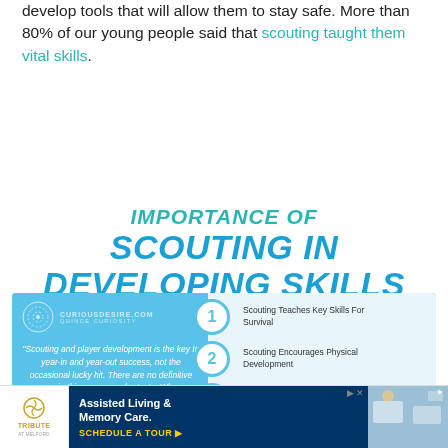develop tools that will allow them to stay safe. More than 80% of our young people said that scouting taught them vital skills.
[Figure (infographic): Infographic titled 'Importance of Scouting in Developing Skills' with a blue background left panel showing a quote by Theo Epstein and right panel listing 4 numbered items: 1. Scouting Teaches Key Skills For Survival, 2. Scouting Encourages Physical Development, 3. Scouting Helps Build Self-Esteem, 4. Scouting Builds Resilience Against Stress. Logo for curiousdesire.com visible.]
[Figure (screenshot): Advertisement banner for Tribute at Melford Assisted Living & Memory Care with call to action 'Schedule a Tour'.]